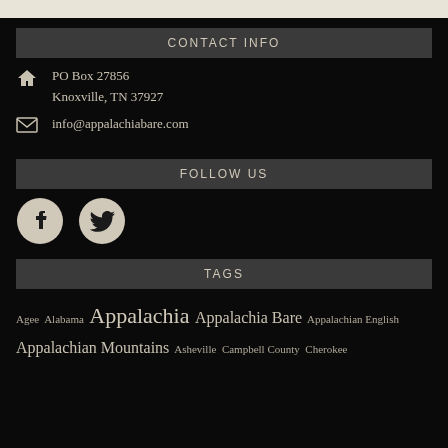CONTACT INFO
PO Box 27856
Knoxville, TN 37927
info@appalachiabare.com
FOLLOW US
[Figure (logo): Facebook and Twitter social media icons]
TAGS
Agee Alabama Appalachia Appalachia Bare Appalachian English Appalachian Mountains Asheville Campbell County Cherokee